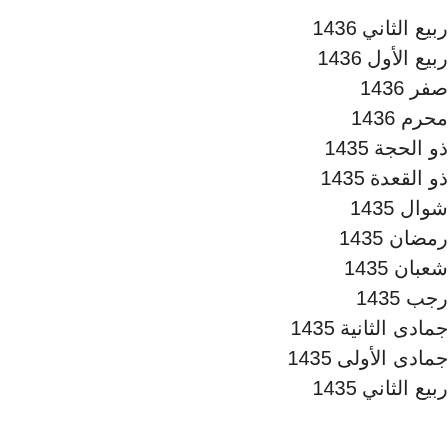ربيع الثاني 1436
ربيع الأول 1436
صفر 1436
محرم 1436
ذو الحجة 1435
ذو القعدة 1435
شوال 1435
رمضان 1435
شعبان 1435
رجب 1435
جمادى الثانية 1435
جمادى الأولى 1435
ربيع الثاني 1435